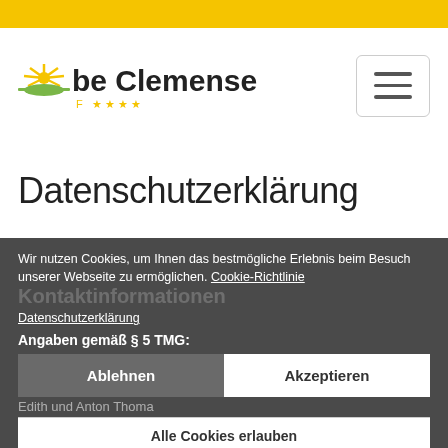[Figure (logo): be Clemense logo with sun graphic and 4 stars]
Datenschutzerklärung
Wir nutzen Cookies, um Ihnen das bestmögliche Erlebnis beim Besuch unserer Webseite zu ermöglichen. Cookie-Richtlinie
Datenschutzerklärung
Angaben gemäß § 5 TMG:
Ablehnen | Akzeptieren
Alle Cookies erlauben
Edith und Anton Thoma
Klosterkammerstraße 19
Cookies erlauben:
56858 St. Aldegund
Notwendig | Einstellungen | Marketing
Telefon: +49 6542-21645